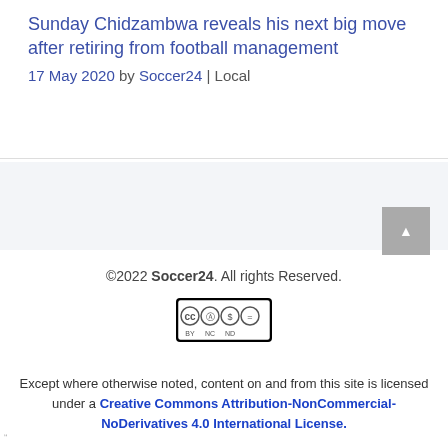Sunday Chidzambwa reveals his next big move after retiring from football management
17 May 2020 by Soccer24 | Local
[Figure (logo): Creative Commons BY NC ND license badge]
©2022 Soccer24. All rights Reserved.
Except where otherwise noted, content on and from this site is licensed under a Creative Commons Attribution-NonCommercial-NoDerivatives 4.0 International License.